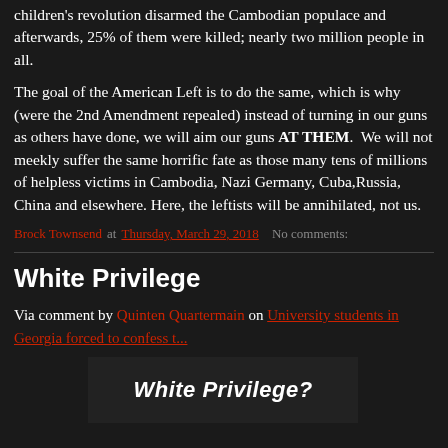children's revolution disarmed the Cambodian populace and afterwards, 25% of them were killed; nearly two million people in all.
The goal of the American Left is to do the same, which is why (were the 2nd Amendment repealed) instead of turning in our guns as others have done, we will aim our guns AT THEM.  We will not meekly suffer the same horrific fate as those many tens of millions of helpless victims in Cambodia, Nazi Germany, Cuba,Russia, China and elsewhere. Here, the leftists will be annihilated, not us.
Brock Townsend at Thursday, March 29, 2018   No comments:
White Privilege
Via comment by Quinten Quartermain on University students in Georgia forced to confess t...
[Figure (photo): Image with text 'White Privilege?' on dark background]